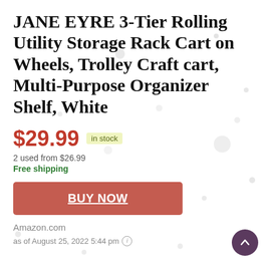JANE EYRE 3-Tier Rolling Utility Storage Rack Cart on Wheels, Trolley Craft cart, Multi-Purpose Organizer Shelf, White
$29.99  in stock
2 used from $26.99
Free shipping
BUY NOW
Amazon.com
as of August 25, 2022 5:44 pm